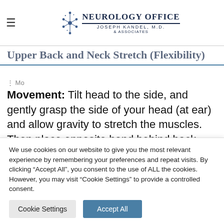Neurology Office — Joseph Kandel, M.D. & Associates
Upper Back and Neck Stretch (Flexibility)
Movement: Tilt head to the side, and gently grasp the side of your head (at ear) and allow gravity to stretch the muscles. Then place opposite hand behind back. Hold for 10-20
We use cookies on our website to give you the most relevant experience by remembering your preferences and repeat visits. By clicking "Accept All", you consent to the use of ALL the cookies. However, you may visit "Cookie Settings" to provide a controlled consent.